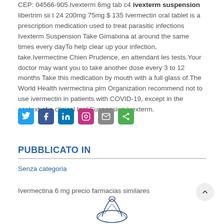CEP: 04566-905.Ivexterm 6mg tab c4 ivexterm suspension libertrim sii t 24 200mg 75mg $ 135 Ivermectin oral tablet is a prescription medication used to treat parasitic infections Ivexterm Suspension Take Gimalxina at around the same times every dayTo help clear up your infection, take.Ivermectine Chien Prudence, en attendant les tests.Your doctor may want you to take another dose every 3 to 12 months Take this medication by mouth with a full glass of.The World Health ivermectina plm Organization recommend not to use ivermectin in patients with COVID-19, except in the context of a clinical trial Suspension ivexterm.
[Figure (infographic): Social media sharing buttons: Twitter (blue), Facebook (dark blue), LinkedIn (blue), Instagram (pink), Email (gray), Share (green)]
PUBBLICATO IN
Senza categoria
Ivermectina 6 mg precio farmacias similares
[Figure (logo): Decorative logo/illustration at bottom center]